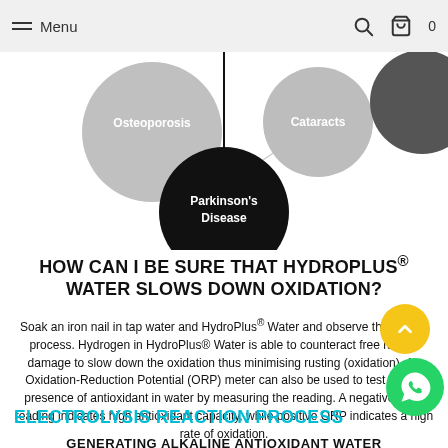Menu
[Figure (infographic): Bubble diagram showing disease circles connected by lines: Osteoporosis (large grey), Cataracts (grey), Parkinson's Disease (black, central/large), and a partially visible dark grey circle on the right edge.]
HOW CAN I BE SURE THAT HYDROPLUS® WATER SLOWS DOWN OXIDATION?
Soak an iron nail in tap water and HydroPlus® Water and observe the rusting process. Hydrogen in HydroPlus® Water is able to counteract free radical damage to slow down the oxidation thus minimising rusting (oxidation). An Oxidation-Reduction Potential (ORP) meter can also be used to test for the presence of antioxidant in water by measuring the reading. A negative ORP reading indicates high antioxidant capacity, while positive ORP indicates a high rate of oxidation.
ELECTROLYSIS REACTION PROCESS
GENERATING ALKALINE ANTIOXIDANT WATER